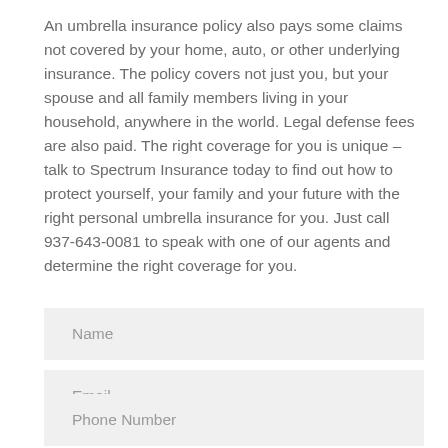An umbrella insurance policy also pays some claims not covered by your home, auto, or other underlying insurance. The policy covers not just you, but your spouse and all family members living in your household, anywhere in the world. Legal defense fees are also paid. The right coverage for you is unique – talk to Spectrum Insurance today to find out how to protect yourself, your family and your future with the right personal umbrella insurance for you. Just call 937-643-0081 to speak with one of our agents and determine the right coverage for you.
Name
Email
Phone Number